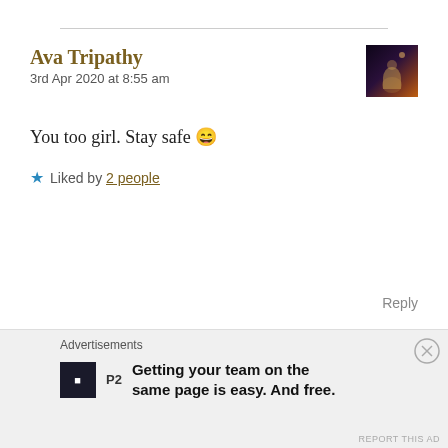Ava Tripathy
3rd Apr 2020 at 8:55 am
You too girl. Stay safe 😄
★ Liked by 2 people
Reply
SaaniaSparkle 👩
3rd Apr 2020 at 9:45 am
Advertisements
Getting your team on the same page is easy. And free.